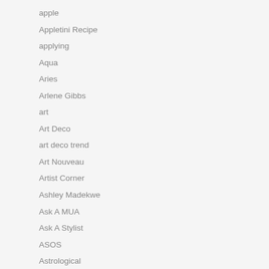apple
Appletini Recipe
applying
Aqua
Aries
Arlene Gibbs
art
Art Deco
art deco trend
Art Nouveau
Artist Corner
Ashley Madekwe
Ask A MUA
Ask A Stylist
ASOS
Astrological